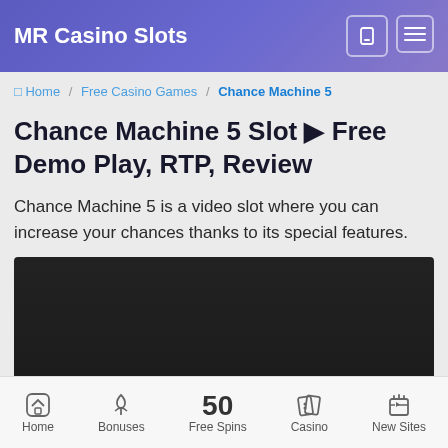MR Casino Slots
🏠 Home / Free Casino Games / Chance Machine 5
Chance Machine 5 Slot ▶ Free Demo Play, RTP, Review
Chance Machine 5 is a video slot where you can increase your chances thanks to its special features.
[Figure (screenshot): Dark/black game embed area for Chance Machine 5 slot demo]
Home | Bonuses | 50 Free Spins | Casino | New Sites